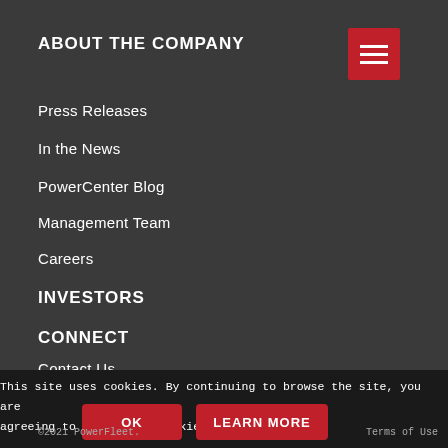ABOUT THE COMPANY
Press Releases
In the News
PowerCenter Blog
Management Team
Careers
INVESTORS
CONNECT
Contact Us
This site uses cookies. By continuing to browse the site, you are agreeing to our use of cookies.
©2021 PowerFleet.  Privacy Policy · Terms of Use